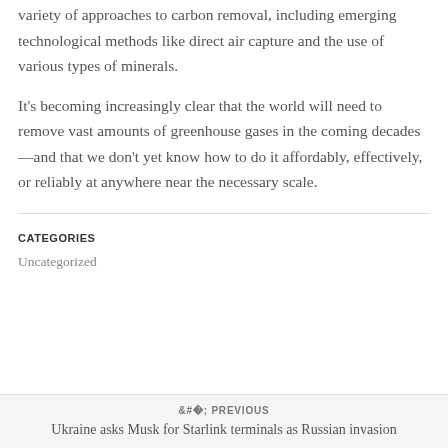variety of approaches to carbon removal, including emerging technological methods like direct air capture and the use of various types of minerals.
It’s becoming increasingly clear that the world will need to remove vast amounts of greenhouse gases in the coming decades—and that we don’t yet know how to do it affordably, effectively, or reliably at anywhere near the necessary scale.
CATEGORIES
Uncategorized
‹ PREVIOUS
Ukraine asks Musk for Starlink terminals as Russian invasion